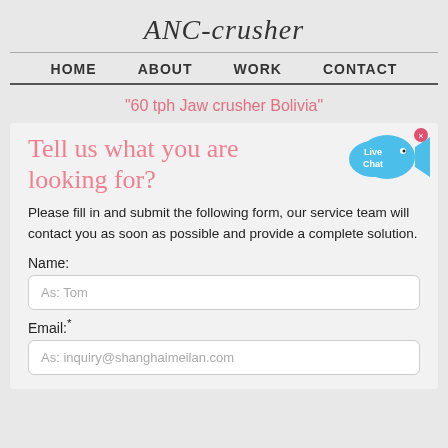ANC-crusher
HOME  ABOUT  WORK  CONTACT
"60 tph Jaw crusher Bolivia"
Tell us what you are looking for?
Please fill in and submit the following form, our service team will contact you as soon as possible and provide a complete solution.
Name:
As: Tom
Email:*
As: inquiry@shanghaimeilan.com